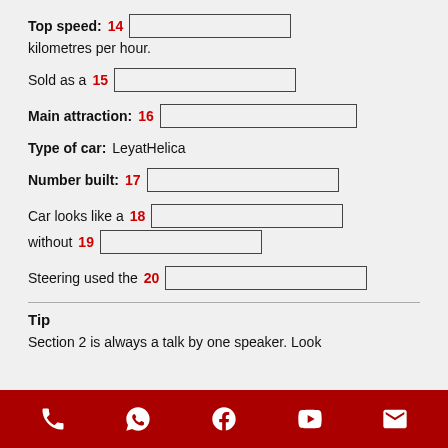Top speed: 14 [blank input] kilometres per hour.
Sold as a 15 [blank input]
Main attraction: 16 [blank input]
Type of car: LeyatHelica
Number built: 17 [blank input]
Car looks like a 18 [blank input] without 19 [blank input]
Steering used the 20 [blank input]
Tip
Section 2 is always a talk by one speaker. Look
Phone | WhatsApp | Facebook | YouTube | Email